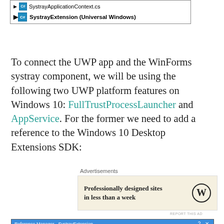[Figure (screenshot): Visual Studio Solution Explorer showing SystrayApplicationContext.cs and SystrayExtension (Universal Windows) project items]
To connect the UWP app and the WinForms systray component, we will be using the following two UWP platform features on Windows 10: FullTrustProcessLauncher and AppService. For the former we need to add a reference to the Windows 10 Desktop Extensions SDK:
Advertisements
[Figure (screenshot): WordPress advertisement: Professionally designed sites in less than a week]
[Figure (screenshot): Reference Manager - SystrayExtension dialog showing Windows Desktop Extensions for the UWP selected, version 10.0.1506]